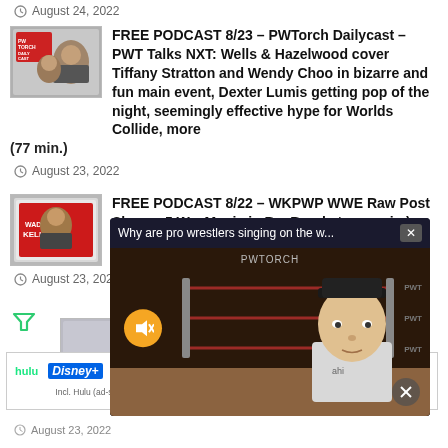August 24, 2022
[Figure (photo): PWTorch Dailycast podcast thumbnail showing two hosts]
FREE PODCAST 8/23 – PWTorch Dailycast – PWT Talks NXT: Wells & Hazelwood cover Tiffany Stratton and Wendy Choo in bizarre and fun main event, Dexter Lumis getting pop of the night, seemingly effective hype for Worlds Collide, more (77 min.)
August 23, 2022
[Figure (photo): Wade Keller podcast thumbnail]
FREE PODCAST 8/22 – WKPWP WWE Raw Post Show – 5 W... Mania in B... Brock, two... min.)
August 23, 2022
[Figure (screenshot): Video popup overlay: Why are pro wrestlers singing on the w... with PWTORCH branding and a person in a baseball cap]
FREE POD... Yrs Ago w...
August 23, 2022
[Figure (photo): Disney Bundle advertisement banner with Hulu, Disney+, ESPN+ logos]
Incl. Hulu (ad-supported) or Hulu (No Ads). Access content from each service separately. ©2021 Disney and its related entities